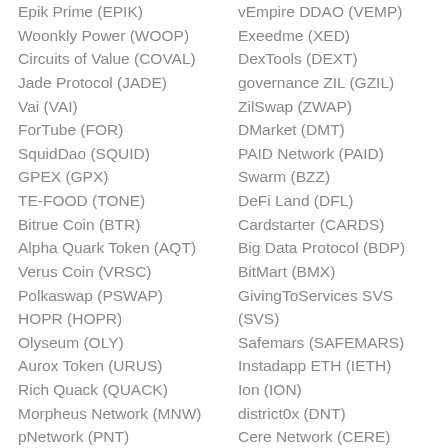Epik Prime (EPIK)
Woonkly Power (WOOP)
Circuits of Value (COVAL)
Jade Protocol (JADE)
Vai (VAI)
ForTube (FOR)
SquidDao (SQUID)
GPEX (GPX)
TE-FOOD (TONE)
Bitrue Coin (BTR)
Alpha Quark Token (AQT)
Verus Coin (VRSC)
Polkaswap (PSWAP)
HOPR (HOPR)
Olyseum (OLY)
Aurox Token (URUS)
Rich Quack (QUACK)
Morpheus Network (MNW)
pNetwork (PNT)
vEmpire DDAO (VEMP)
Exeedme (XED)
DexTools (DEXT)
governance ZIL (GZIL)
ZilSwap (ZWAP)
DMarket (DMT)
PAID Network (PAID)
Swarm (BZZ)
DeFi Land (DFL)
Cardstarter (CARDS)
Big Data Protocol (BDP)
BitMart (BMX)
GivingToServices SVS (SVS)
Safemars (SAFEMARS)
Instadapp ETH (IETH)
Ion (ION)
district0x (DNT)
Cere Network (CERE)